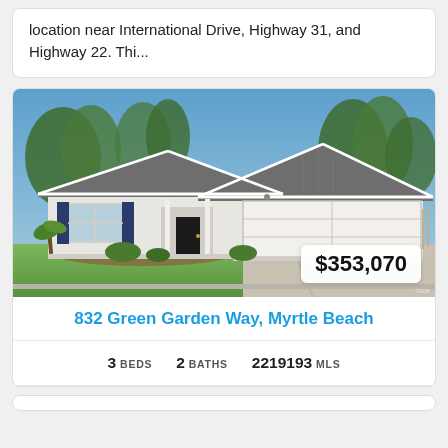location near International Drive, Highway 31, and Highway 22. Thi...
[Figure (photo): Exterior photo of a single-story residential home with gray roof, white/light gray siding, dark shutters, two-car garage, concrete driveway, and landscaped front yard with trees in background]
$353,070
832 Green Garden Way, Myrtle Beach
3 BEDS  2 BATHS  2219193 MLS